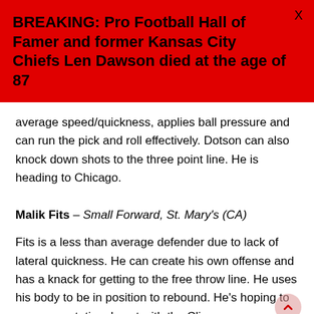BREAKING: Pro Football Hall of Famer and former Kansas City Chiefs Len Dawson died at the age of 87
average speed/quickness, applies ball pressure and can run the pick and roll effectively. Dotson can also knock down shots to the three point line. He is heading to Chicago.
Malik Fits – Small Forward, St. Mary's (CA)
Fits is a less than average defender due to lack of lateral quickness. He can create his own offense and has a knack for getting to the free throw line. He uses his body to be in position to rebound. He's hoping to secure a rotational spot with the Clippers.